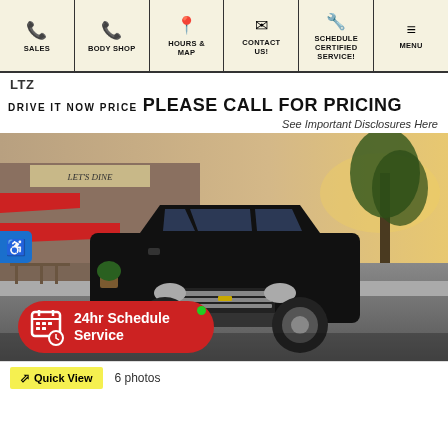SALES | BODY SHOP | HOURS & MAP | CONTACT US! | SCHEDULE CERTIFIED SERVICE! | MENU
LTZ
DRIVE IT NOW PRICE PLEASE CALL FOR PRICING
See Important Disclosures Here
[Figure (photo): Black Chevrolet Tahoe SUV driving on a street with a restaurant building in the background]
24hr Schedule Service
Quick View  6 photos